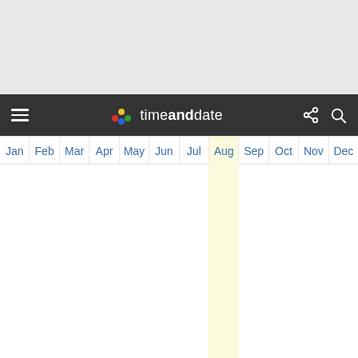[Figure (screenshot): Gray top banner area]
timeanddate — navigation bar with hamburger menu, logo, share and search icons
| Jan | Feb | Mar | Apr | May | Jun | Jul | Aug | Sep | Oct | Nov | Dec |
| --- | --- | --- | --- | --- | --- | --- | --- | --- | --- | --- | --- |
| 47
38 | 47
38 | 50
39 | 53
41 | 58
45 | 62
50 | 65
53 | 65
53 | 62
50 | 56
46 | 51
42 | 48
39 |